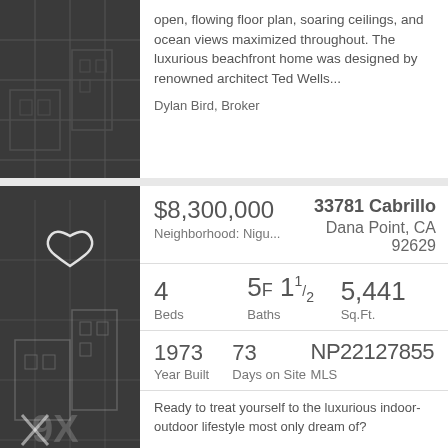open, flowing floor plan, soaring ceilings, and ocean views maximized throughout. The luxurious beachfront home was designed by renowned architect Ted Wells...
Dylan Bird, Broker
$8,300,000
Neighborhood: Nigu...
33781 Cabrillo
Dana Point, CA
92629
4 Beds
5F 11/2 Baths
5,441 Sq.Ft.
1973 Year Built
73 Days on Site
NP22127855 MLS
Ready to treat yourself to the luxurious indoor-outdoor lifestyle most only dream of?